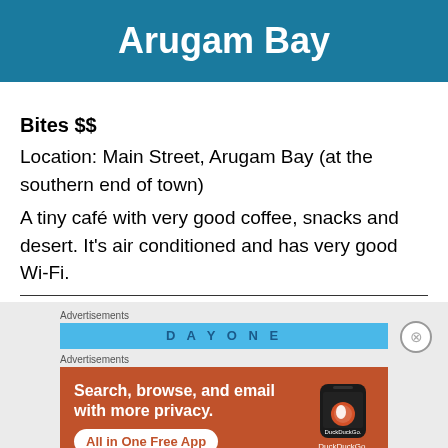Arugam Bay
Bites $$
Location: Main Street, Arugam Bay (at the southern end of town)
A tiny café with very good coffee, snacks and desert. It's air conditioned and has very good Wi-Fi.
[Figure (other): Advertisement banner - DuckDuckGo app ad with orange background, text 'Search, browse, and email with more privacy. All in One Free App' and phone graphic with DuckDuckGo logo]